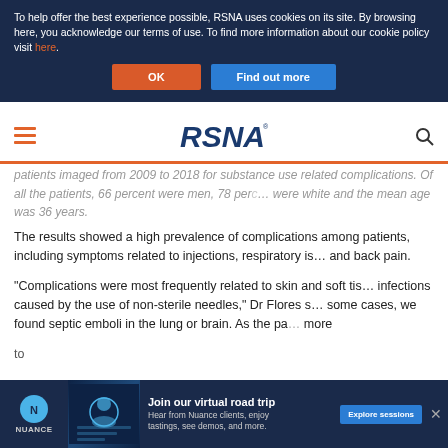To help offer the best experience possible, RSNA uses cookies on its site. By browsing here, you acknowledge our terms of use. To find more information about our cookie policy visit here.
[Figure (screenshot): Cookie consent buttons: orange OK button and blue Find out more button]
[Figure (logo): RSNA logo with hamburger menu icon and search icon in navigation bar]
patients imaged from 2009 to 2018 for substance use related complications. Of all the patients, 66 percent were men, 78 percent were white and the mean age was 36 years.
The results showed a high prevalence of complications among patients, including symptoms related to injections, respiratory issues and back pain.
"Complications were most frequently related to skin and soft tissue infections caused by the use of non-sterile needles," Dr Flores said. "In some cases, we found septic emboli in the lung or brain. As the patients more to...
[Figure (screenshot): Nuance advertisement banner: Join our virtual road trip. Hear from Nuance clients, enjoy tastings, see demos, and more. Explore sessions button.]